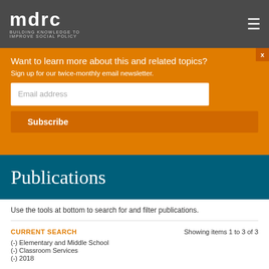mdrc BUILDING KNOWLEDGE TO IMPROVE SOCIAL POLICY
Want to learn more about this and related topics? Sign up for our twice-monthly email newsletter.
Publications
Use the tools at bottom to search for and filter publications.
CURRENT SEARCH
Showing items 1 to 3 of 3
(-) Elementary and Middle School
(-) Classroom Services
(-) 2018